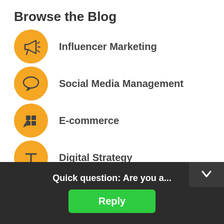Browse the Blog
Influencer Marketing
Social Media Management
E-commerce
Digital Strategy
SEO
Paid Search (PPC)
Quick question: Are you a...
Reply